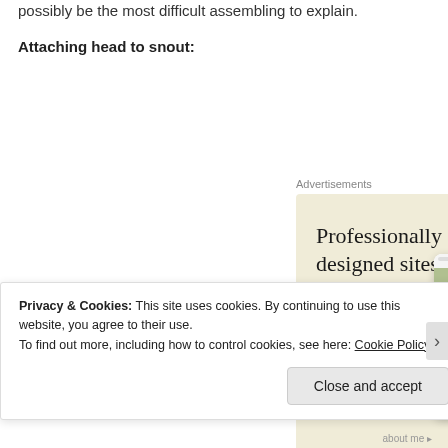possibly be the most difficult assembling to explain.
Attaching head to snout:
[Figure (screenshot): Advertisement banner for a website builder service. Large serif text reads 'Professionally designed sites in less than a week' with a green 'Explore options' button, on a beige background with mock website screenshots on the right.]
Privacy & Cookies: This site uses cookies. By continuing to use this website, you agree to their use.
To find out more, including how to control cookies, see here: Cookie Policy
Close and accept